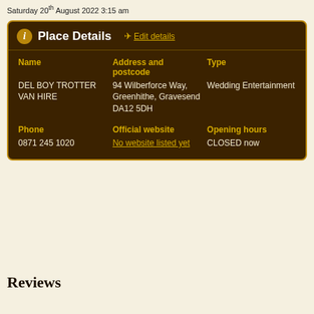Saturday 20th August 2022 3:15 am
| Name | Address and postcode | Type |
| --- | --- | --- |
| DEL BOY TROTTER VAN HIRE | 94 Wilberforce Way, Greenhithe, Gravesend DA12 5DH | Wedding Entertainment |
| Phone
0871 245 1020 | Official website
No website listed yet | Opening hours
CLOSED now |
Reviews